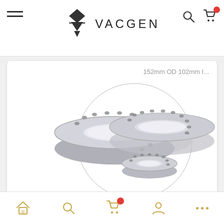VACGEN
[Figure (photo): Three stainless steel vacuum flanges (CF flanges) of different sizes arranged overlapping each other, showing bolt holes around the circumference.]
152mm OD 102mm I...
203mm OD - 304L T...
Home | Search | Cart | Account | More